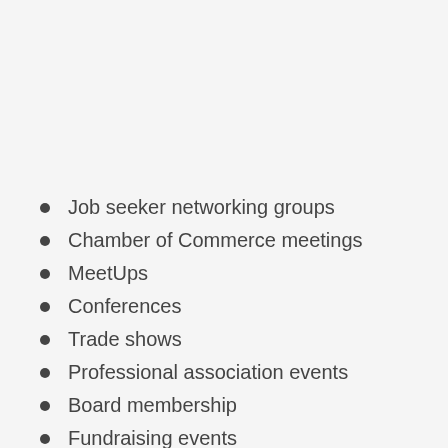Job seeker networking groups
Chamber of Commerce meetings
MeetUps
Conferences
Trade shows
Professional association events
Board membership
Fundraising events
Enroll in training or classes
Affin...